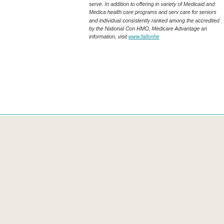serve. In addition to offering in variety of Medicaid and Medica health care programs and serv care for seniors and individual consistently ranked among the accredited by the National Con HMO, Medicare Advantage an information, visit www.fallonhe
Quick links
Find insurance
Members
Employers
Providers
Brokers
City of Worcester Advantage
GIC
Compliance/Business Partners
Helpful tools
Find a doctor
MyFallon member portal
Online drug formulary
Find a pharmacy
Healthwise Knowledgebase
Provider Tools